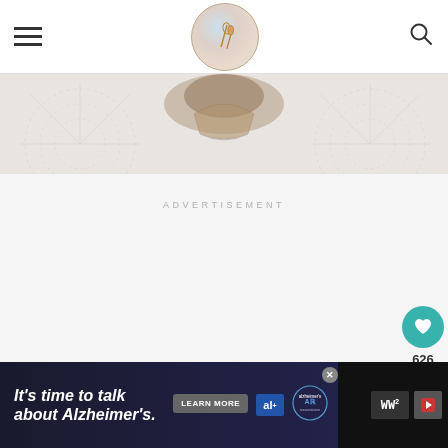App's Little Spice - blog navigation header with logo, hamburger menu, and search icon
[Figure (photo): Close-up photo of a baked pastry or muffin in a paper cup on a lace doily background, soft gray-white tones]
ADVERTISEMENT
[Figure (infographic): Heart (favorite) button in teal, count showing 626, and share button below on right side]
[Figure (infographic): What's Next panel showing an Egg In a Hole Bagel recipe thumbnail with teal arrow label]
[Figure (infographic): Bottom advertisement banner: It's time to talk about Alzheimer's. LEARN MORE button with Alzheimer's Association logo]